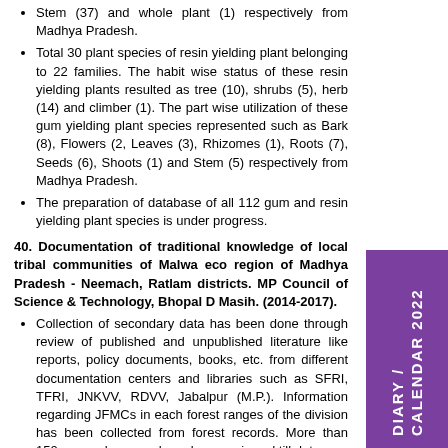Stem (37) and whole plant (1) respectively from Madhya Pradesh.
Total 30 plant species of resin yielding plant belonging to 22 families. The habit wise status of these resin yielding plants resulted as tree (10), shrubs (5), herb (14) and climber (1). The part wise utilization of these gum yielding plant species represented such as Bark (8), Flowers (2, Leaves (3), Rhizomes (1), Roots (7), Seeds (6), Shoots (1) and Stem (5) respectively from Madhya Pradesh.
The preparation of database of all 112 gum and resin yielding plant species is under progress.
40. Documentation of traditional knowledge of local tribal communities of Malwa eco region of Madhya Pradesh - Neemach, Ratlam districts. MP Council of Science & Technology, Bhopal D Masih. (2014-2017).
Collection of secondary data has been done through review of published and unpublished literature like reports, policy documents, books, etc. from different documentation centers and libraries such as SFRI, TFRI, JNKVV, RDVV, Jabalpur (M.P.). Information regarding JFMCs in each forest ranges of the division has been collected from forest records. More than 150 research papers have been reviewed till date.
The primary survey work for the collection of traditional knowledge of local tribal and communities have been carried out in 20 villages...